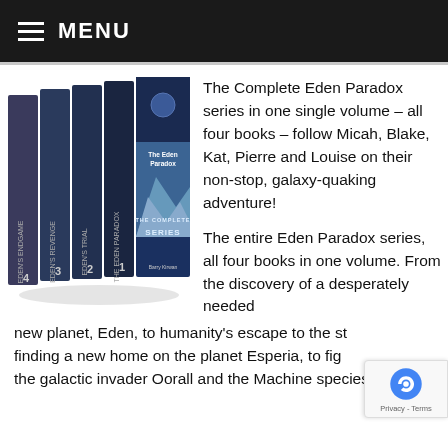≡ MENU
[Figure (photo): Box set of The Eden Paradox complete series (4 books) by Barry Kirwan, showing spines labeled 1-4 (Eden Endgame, Eden's Revenge, Eden's Trial, The Eden Paradox) and front cover with mountain/sci-fi landscape and text 'The Eden Paradox - The Complete Series']
The Complete Eden Paradox series in one single volume – all four books – follow Micah, Blake, Kat, Pierre and Louise on their non-stop, galaxy-quaking adventure!
The entire Eden Paradox series, all four books in one volume. From the discovery of a desperately needed new planet, Eden, to humanity's escape to the st... finding a new home on the planet Esperia, to fig... the galactic invader Oorall and the Machine species who